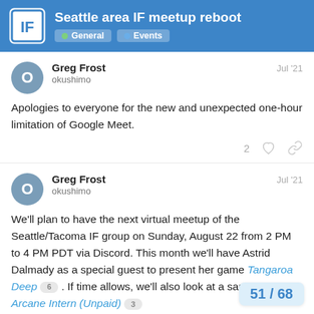Seattle area IF meetup reboot — General · Events
Greg Frost
okushimo
Jul '21
Apologies to everyone for the new and unexpected one-hour limitation of Google Meet.
Greg Frost
okushimo
Jul '21
We'll plan to have the next virtual meetup of the Seattle/Tacoma IF group on Sunday, August 22 from 2 PM to 4 PM PDT via Discord. This month we'll have Astrid Dalmady as a special guest to present her game Tangaroa Deep 6 . If time allows, we'll also look at a sample of Arcane Intern (Unpaid) 3

Special thanks to Angelique for setting up
51 / 68